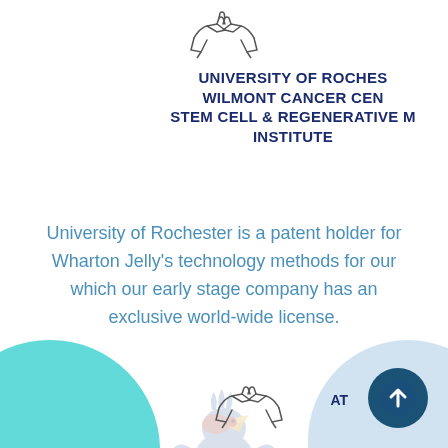[Figure (illustration): Handshake icon outline at top center]
UNIVERSITY OF ROCHESTER WILMONT CANCER CENTER STEM CELL & REGENERATIVE MEDICINE INSTITUTE
University of Rochester is a patent holder for Wharton Jelly's technology methods for our which our early stage company has an exclusive world-wide license.
[Figure (logo): Kansas University Jayhawk mascot logo (KU) centered, faded/watermark style]
[Figure (illustration): Handshake icon outline at bottom center]
AT
[Figure (illustration): Dark blue circle button with upward arrow icon, bottom right]